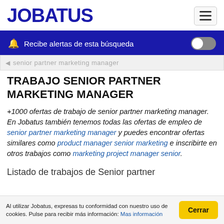JOBATUS
Recibe alertas de esta búsqueda
TRABAJO SENIOR PARTNER MARKETING MANAGER
+1000 ofertas de trabajo de senior partner marketing manager. En Jobatus también tenemos todas las ofertas de empleo de senior partner marketing manager y puedes encontrar ofertas similares como product manager senior marketing e inscribirte en otros trabajos como marketing project manager senior.
Listado de trabajos de Senior partner
Al utilizar Jobatus, expresas tu conformidad con nuestro uso de cookies. Pulse para recibir más información: Mas información